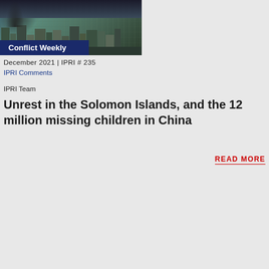[Figure (photo): Aerial view of a city with smoke rising, tropical buildings visible, labeled Conflict Weekly with blue banner]
December 2021 | IPRI # 235
IPRI Comments
IPRI Team
Unrest in the Solomon Islands, and the 12 million missing children in China
READ MORE
[Figure (photo): Crowd of protesters being dispersed by water cannon in an urban setting, labeled Conflict Weekly with green banner]